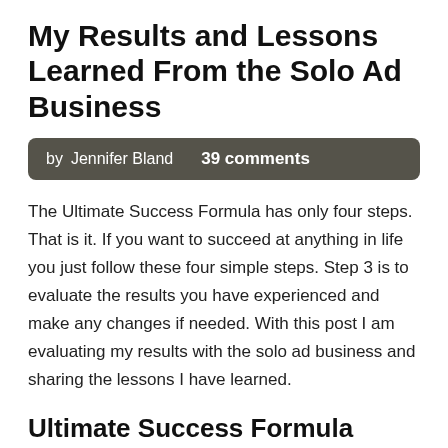My Results and Lessons Learned From the Solo Ad Business
by  Jennifer Bland  39 comments
The Ultimate Success Formula has only four steps. That is it. If you want to succeed at anything in life you just follow these four simple steps. Step 3 is to evaluate the results you have experienced and make any changes if needed. With this post I am evaluating my results with the solo ad business and sharing the lessons I have learned.
Ultimate Success Formula